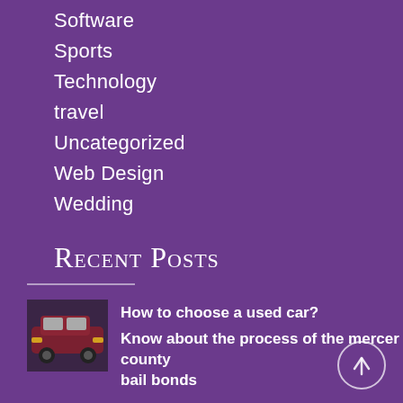Software
Sports
Technology
travel
Uncategorized
Web Design
Wedding
Recent Posts
How to choose a used car?
Know about the process of the mercer county bail bonds